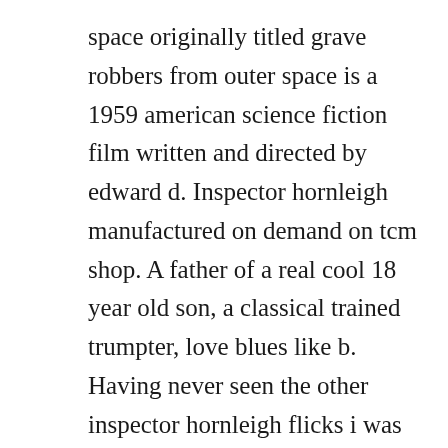space originally titled grave robbers from outer space is a 1959 american science fiction film written and directed by edward d. Inspector hornleigh manufactured on demand on tcm shop. A father of a real cool 18 year old son, a classical trained trumpter, love blues like b. Having never seen the other inspector hornleigh flicks i was unsure what to expect here, which sure made it all the more exciting.

Inspector hornleigh on holiday 1939 region 2 gordon harker. Hornleigh is played by gordon